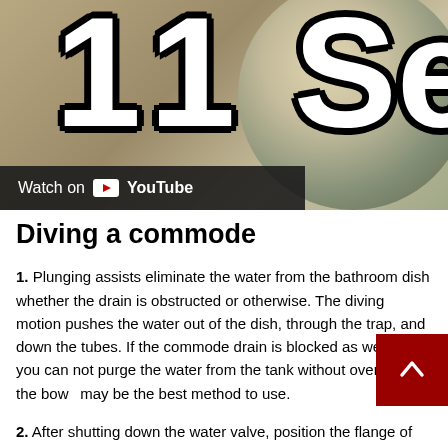[Figure (screenshot): YouTube video thumbnail showing '11 Se...' text in large bold white outlined letters on a sandy/brown background, with a 'Watch on YouTube' overlay bar at the bottom left.]
Diving a commode
1. Plunging assists eliminate the water from the bathroom dish whether the drain is obstructed or otherwise. The diving motion pushes the water out of the dish, through the trap, and down the tubes. If the commode drain is blocked as well as you can not purge the water from the tank without overrunning the bowl may be the best method to use.
2. After shutting down the water valve, position the flange of st...